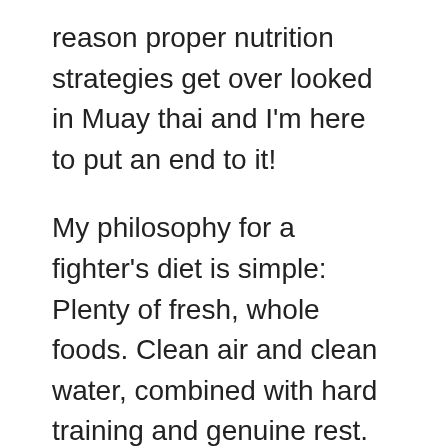reason proper nutrition strategies get over looked in Muay thai and I'm here to put an end to it!
My philosophy for a fighter's diet is simple: Plenty of fresh, whole foods. Clean air and clean water, combined with hard training and genuine rest.
In this post I want to show you some things you can do to change from an average diet, to a performance diet for athletes. These may seem like simple tips, but you'll have to trust me – they